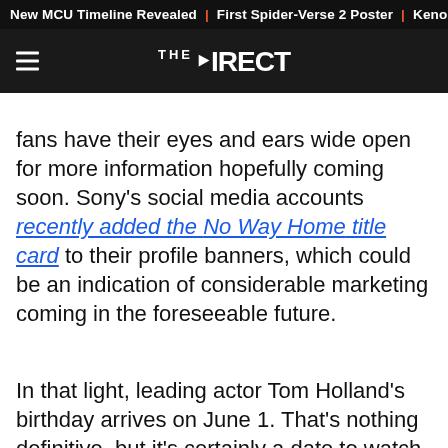New MCU Timeline Revealed | First Spider-Verse 2 Poster | Kenob
THE DIRECT
fans have their eyes and ears wide open for more information hopefully coming soon. Sony's social media accounts recently added the No Way Home title card to their profile banners, which could be an indication of considerable marketing coming in the foreseeable future.
In that light, leading actor Tom Holland's birthday arrives on June 1. That's nothing definitive, but it's certainly a date to watch out for after the way Marvel celebrated Shang-Chi actor Simu Liu's birthday.